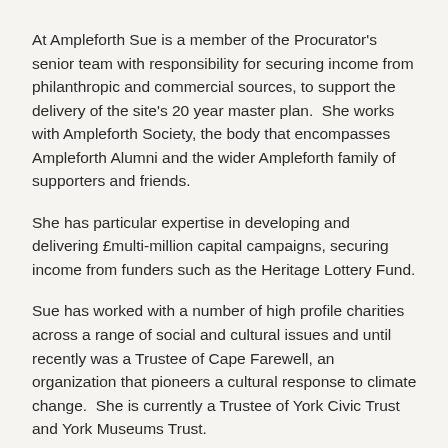At Ampleforth Sue is a member of the Procurator's senior team with responsibility for securing income from philanthropic and commercial sources, to support the delivery of the site's 20 year master plan.  She works with Ampleforth Society, the body that encompasses Ampleforth Alumni and the wider Ampleforth family of supporters and friends.
She has particular expertise in developing and delivering £multi-million capital campaigns, securing income from funders such as the Heritage Lottery Fund.
Sue has worked with a number of high profile charities across a range of social and cultural issues and until recently was a Trustee of Cape Farewell, an organization that pioneers a cultural response to climate change.  She is currently a Trustee of York Civic Trust and York Museums Trust.